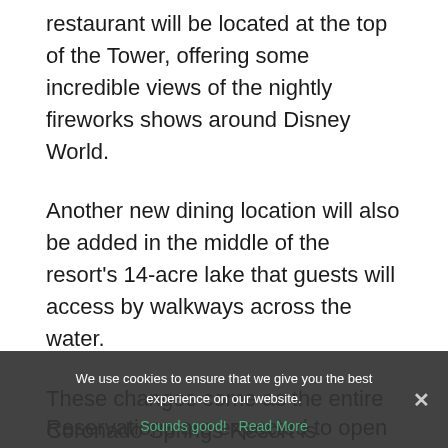restaurant will be located at the top of the Tower, offering some incredible views of the nightly fireworks shows around Disney World.
Another new dining location will also be added in the middle of the resort's 14-acre lake that guests will access by walkways across the water.
These changes come as the entire Coronado Springs Resort is reimagined with new colors and updated rooms.
Reservations are expected to open for the Cor...
We use cookies to ensure that we give you the best experience on our website.
Sounds good!   Read More